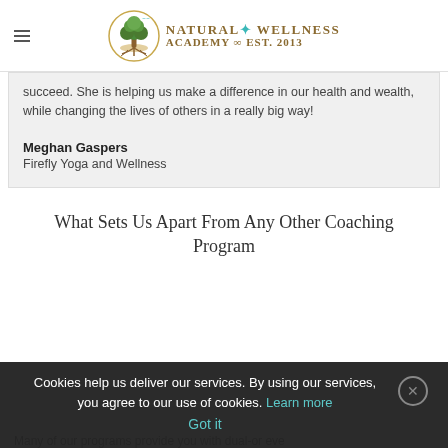Natural Wellness Academy ∞ Est. 2013
succeed. She is helping us make a difference in our health and wealth, while changing the lives of others in a really big way!
Meghan Gaspers
Firefly Yoga and Wellness
What Sets Us Apart From Any Other Coaching Program
Cookies help us deliver our services. By using our services, you agree to our use of cookies. Learn more Got it
Many of our programs provide you with dual-or eve